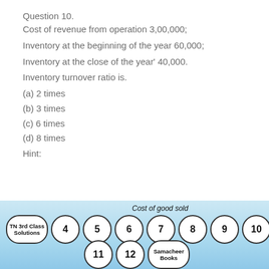Question 10.
Cost of revenue from operation 3,00,000; Inventory at the beginning of the year 60,000; Inventory at the close of the year' 40,000. Inventory turnover ratio is.
(a) 2 times
(b) 3 times
(c) 6 times
(d) 8 times
Hint:
[Figure (other): Footer navigation bar with circular numbered buttons (4,5,6,7,8,9,10,11,12), TN 3rd Class Solutions logo, and Samacheer Books button, on a light blue gradient background. Label 'Cost of good sold' appears above the numbers.]